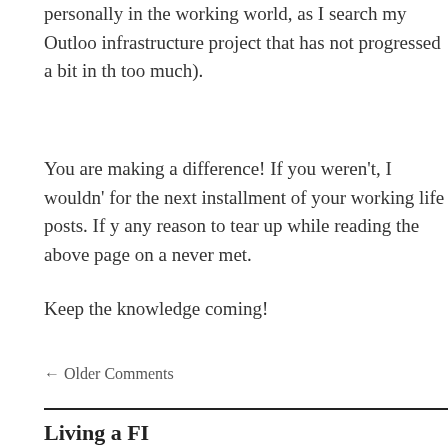personally in the working world, as I search my Outloo infrastructure project that has not progressed a bit in th too much).
You are making a difference! If you weren't, I wouldn' for the next installment of your working life posts. If y any reason to tear up while reading the above page on a never met.
Keep the knowledge coming!
← Older Comments
Living a FI